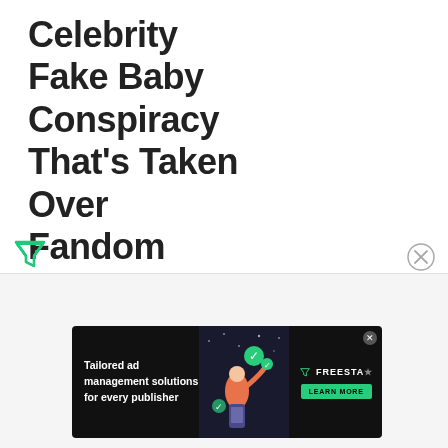Celebrity Fake Baby Conspiracy That's Taken Over Fandom
[Figure (other): Filter icon (green inverted triangle/funnel shape) at bottom left]
[Figure (other): Close/dismiss icon (circle with X) at bottom right]
[Figure (other): Freestar advertisement banner: dark background with illustration of person, text 'Tailored ad management solutions for every publisher', Freestar logo, and 'Learn More' button]